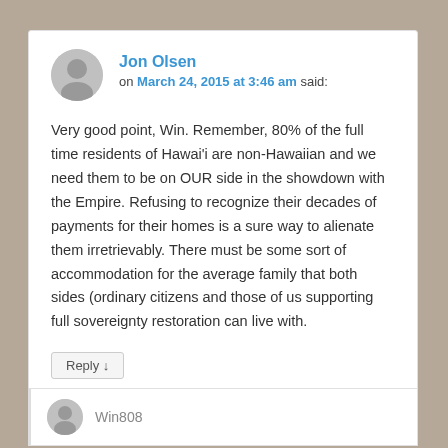Jon Olsen on March 24, 2015 at 3:46 am said: Very good point, Win. Remember, 80% of the full time residents of Hawai'i are non-Hawaiian and we need them to be on OUR side in the showdown with the Empire. Refusing to recognize their decades of payments for their homes is a sure way to alienate them irretrievably. There must be some sort of accommodation for the average family that both sides (ordinary citizens and those of us supporting full sovereignty restoration can live with.
Win808